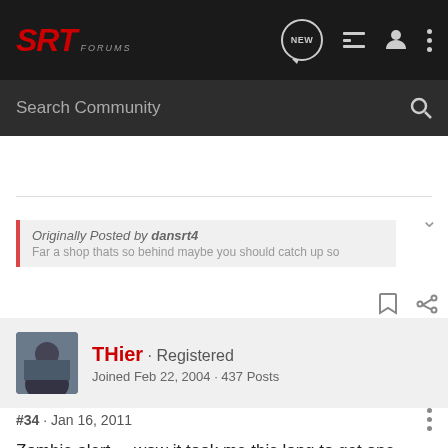SRT FORUMS
Search Community
Originally Posted by dansrt4
THier · Registered
Joined Feb 22, 2004 · 437 Posts
#34 · Jan 16, 2011
Zombie alert,,,, wow it took me this long to get one.

Tom